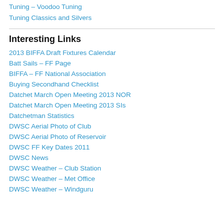Tuning – Voodoo Tuning
Tuning Classics and Silvers
Interesting Links
2013 BIFFA Draft Fixtures Calendar
Batt Sails – FF Page
BIFFA – FF National Association
Buying Secondhand Checklist
Datchet March Open Meeting 2013 NOR
Datchet March Open Meeting 2013 SIs
Datchetman Statistics
DWSC Aerial Photo of Club
DWSC Aerial Photo of Reservoir
DWSC FF Key Dates 2011
DWSC News
DWSC Weather – Club Station
DWSC Weather – Met Office
DWSC Weather – Windguru